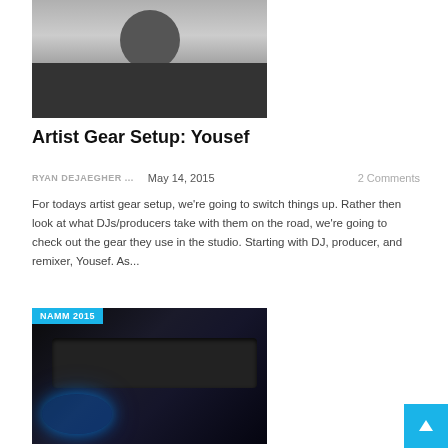[Figure (photo): Black and white photo of a man in a hoodie looking at camera]
Artist Gear Setup: Yousef
RYAN DEJAEGHER ...   May 14, 2015   2 Comments
For todays artist gear setup, we're going to switch things up. Rather then look at what DJs/producers take with them on the road, we're going to check out the gear they use in the studio. Starting with DJ, producer, and remixer, Yousef. As...
[Figure (photo): DJ controller/mixer equipment with blue LED lighting, labeled NAMM 2015]